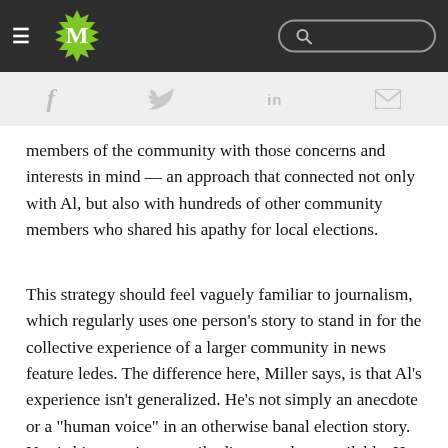M [logo] [search bar]
[Figure (other): Navigation bar with hamburger menu, green M logo, and search bar on dark background]
[Figure (other): Social share bar with Facebook, Twitter, LinkedIn, and email icons]
members of the community with those concerns and interests in mind — an approach that connected not only with Al, but also with hundreds of other community members who shared his apathy for local elections.
This strategy should feel vaguely familiar to journalism, which regularly uses one person's story to stand in for the collective experience of a larger community in news feature ledes. The difference here, Miller says, is that Al's experience isn't generalized. He's not simply an anecdote or a "human voice" in an otherwise banal election story. Nor is his experience easily discounted or assailable. He is allowed to be authentic and relatable.